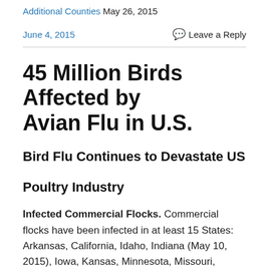Additional Counties May 26, 2015
June 4, 2015      Leave a Reply
45 Million Birds Affected by Avian Flu in U.S.
Bird Flu Continues to Devastate US
Poultry Industry
Infected Commercial Flocks. Commercial flocks have been infected in at least 15 States: Arkansas, California, Idaho, Indiana (May 10, 2015), Iowa, Kansas, Minnesota, Missouri, Montana, Nebraska (May 11, 2015), North